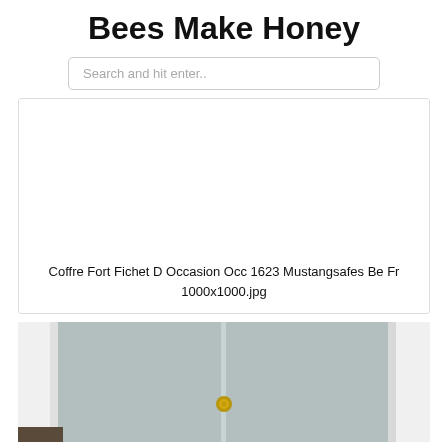Bees Make Honey
Search and hit enter..
[Figure (other): Placeholder image card with caption: Coffre Fort Fichet D Occasion Occ 1623 Mustangsafes Be Fr 1000x1000.jpg]
Coffre Fort Fichet D Occasion Occ 1623 Mustangsafes Be Fr
1000x1000.jpg
[Figure (photo): Photo of a gray safe or cabinet door with a small gold/brass knob, showing white walls on either side and a dark floor.]